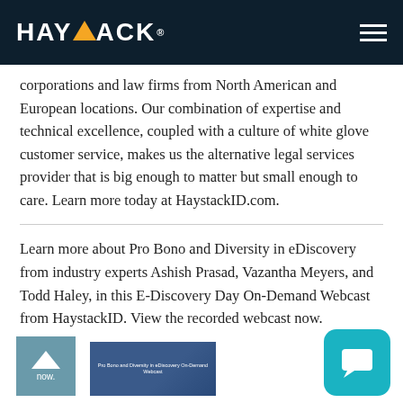HAYSTACK
corporations and law firms from North American and European locations. Our combination of expertise and technical excellence, coupled with a culture of white glove customer service, makes us the alternative legal services provider that is big enough to matter but small enough to care. Learn more today at HaystackID.com.
Learn more about Pro Bono and Diversity in eDiscovery from industry experts Ashish Prasad, Vazantha Meyers, and Todd Haley, in this E-Discovery Day On-Demand Webcast from HaystackID. View the recorded webcast now.
[Figure (screenshot): Thumbnail image of the E-Discovery Day On-Demand Webcast]